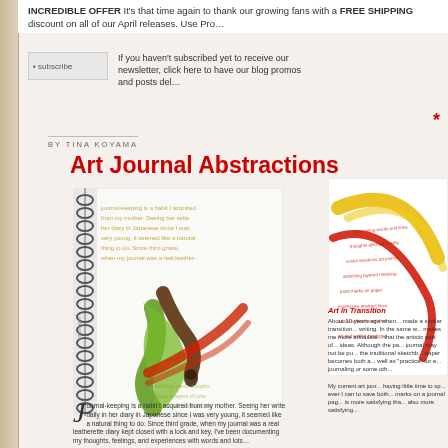INCREDIBLE OFFER. It's that time again to thank our growing fans with a FREE SHIPPING discount on all of our April releases. Use Pro...
[Figure (photo): Subscribe button/image placeholder]
If you haven't subscribed yet to receive our newsletter, click here to have our blog promos and posts del...
Art Journal Abstractions
BY TINA KOYAMA
[Figure (photo): Spiral-bound art journal open to a page showing abstract brushstrokes in green, red/orange, and brown with handwritten text overlay]
[Figure (photo): Partial view of another art journal page with red/orange and yellow curved brushstrokes and red handwritten text]
Art in Transition
About 10 years ago when... made a similar transition... writing. In the same w... makes me more articulate... that the artistic part of... ideas. Although the pa... journal may not be pu... the traditional sketchb... paper becomes both a... well as "practice" for e... journaling or some oth...
Journal-keeping is a habit I acquired from my mother. Seeing her write daily in her diary in Japanese since I was very young, it seemed like a natural thing to do. Since third grade, when my journal was a real hardcover diary kept closed with a lock and key, I've been documenting my thoughts, feelings, and experiences with words and lots...